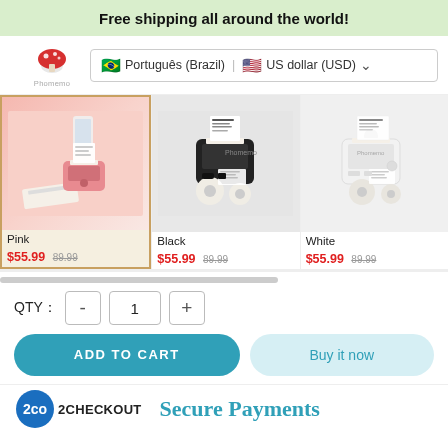Free shipping all around the world!
[Figure (screenshot): Website header with Phomemo logo, Brazilian flag language selector showing Português (Brazil) and US dollar (USD)]
[Figure (photo): Pink label printer product card, selected with gold border]
[Figure (photo): Black label printer product card]
[Figure (photo): White label printer product card]
Pink
$55.99 89.99
Black
$55.99 89.99
White
$55.99 89.99
QTY：  -  1  +
ADD TO CART
Buy it now
2CHECKOUT   Secure Payments